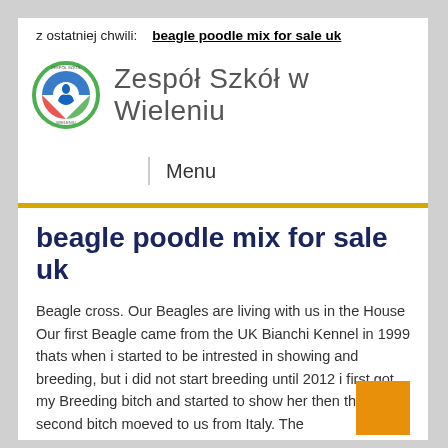z ostatniej chwili:   beagle poodle mix for sale uk
Zespół Szkół w Wieleniu
Menu
beagle poodle mix for sale uk
Beagle cross. Our Beagles are living with us in the House Our first Beagle came from the UK Bianchi Kennel in 1999 thats when i started to be intrested in showing and breeding, but i did not start breeding until 2012 i first got my Breeding bitch and started to show her then the second bitch moeved to us from Italy. The